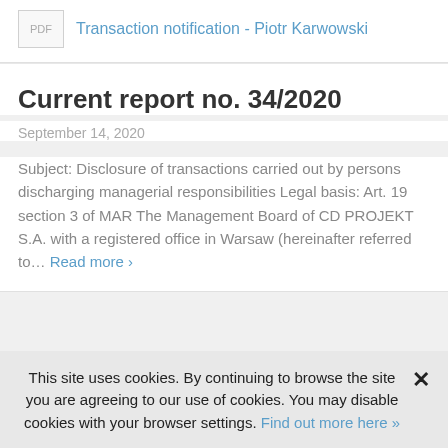PDF  Transaction notification - Piotr Karwowski
Current report no. 34/2020
September 14, 2020
Subject: Disclosure of transactions carried out by persons discharging managerial responsibilities Legal basis: Art. 19 section 3 of MAR The Management Board of CD PROJEKT S.A. with a registered office in Warsaw (hereinafter referred to... Read more ›
This site uses cookies. By continuing to browse the site you are agreeing to our use of cookies. You may disable cookies with your browser settings. Find out more here »